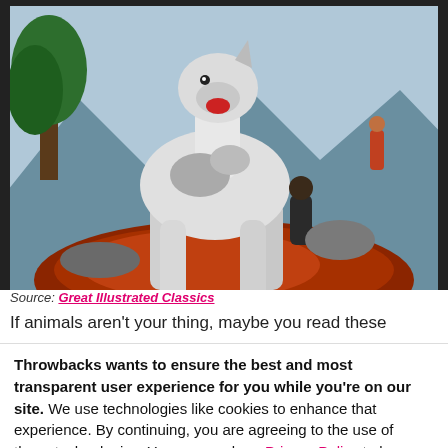[Figure (illustration): Illustrated painting of a large dog (white/grey) standing on a red rock in a wilderness scene with trees, mountains, and a person in dark clothing visible in the background. Style resembles classic book cover illustration art.]
Source: Great Illustrated Classics
If animals aren't your thing, maybe you read these
Throwbacks wants to ensure the best and most transparent user experience for you while you're on our site. We use technologies like cookies to enhance that experience. By continuing, you are agreeing to the use of these technologies. You can read our Privacy Policy to learn more about how your info is used.
I AGREE, LET'S GO!